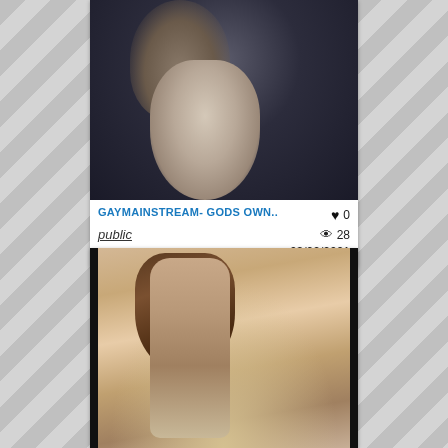[Figure (photo): Video thumbnail showing two people in a close kissing scene, dark outdoor background]
GAYMAINSTREAM- GODS OWN..
public
0
28
03/02/2021
[Figure (photo): Video thumbnail showing a person with long hair on a sandy beach, partial nudity]